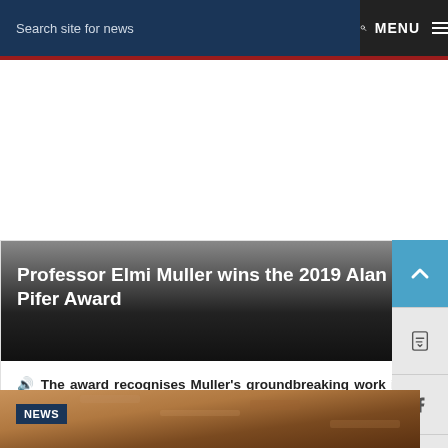Search site for news  🔍  MENU
Professor Elmi Muller wins the 2019 Alan Pifer Award
🔊 The award recognises Muller's groundbreaking work in establishing transplantation between HIV-positive donors and HIV-positive recipients in South Africa and...
26 AUG 2020 - 10 min read
[Figure (photo): Textured reddish-brown background image with NEWS tag overlay]
NEWS